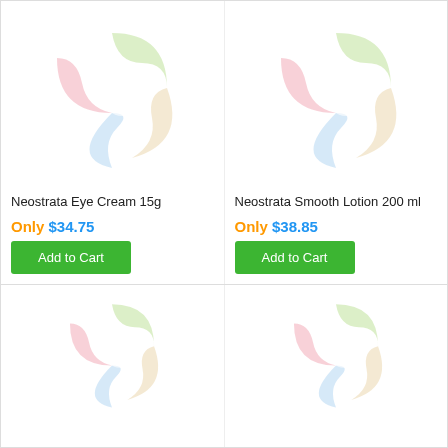[Figure (logo): Pharmacy/health store placeholder logo with colorful swirl shapes (pink, green, blue, beige) - top left product]
Neostrata Eye Cream 15g
Only $34.75
Add to Cart
[Figure (logo): Pharmacy/health store placeholder logo with colorful swirl shapes (pink, green, blue, beige) - top right product]
Neostrata Smooth Lotion 200 ml
Only $38.85
Add to Cart
[Figure (logo): Pharmacy/health store placeholder logo with colorful swirl shapes (pink, green, blue, beige) - bottom left product (partially visible)]
[Figure (logo): Pharmacy/health store placeholder logo with colorful swirl shapes (pink, green, blue, beige) - bottom right product (partially visible)]